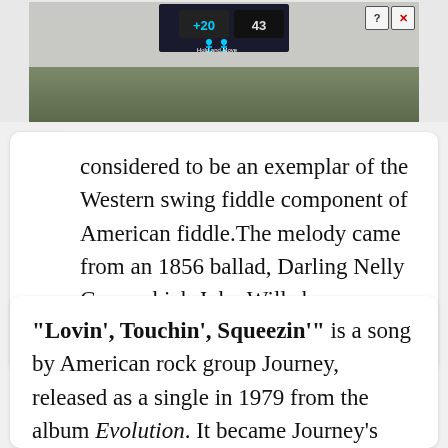[Figure (screenshot): Advertisement banner showing a scoreboard graphic with score '+20' and '43', two person icons labeled 'Hold and Move', trees in background, with close (X) and help (?) buttons.]
considered to be an exemplar of the Western swing fiddle component of American fiddle.The melody came from an 1856 ballad, Darling Nelly Gray, which John Wills knew as a fiddle
"Lovin', Touchin', Squeezin'" is a song by American rock group Journey, released as a single in 1979 from the album Evolution. It became Journey's first Top 40 hit in the United States, reaching No.